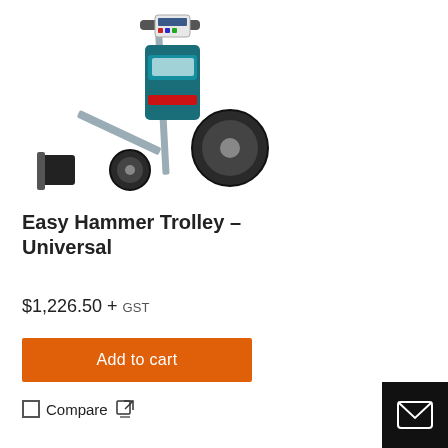[Figure (photo): Easy Hammer Trolley – Universal product image: a wheeled trolley with a teal/blue electric hammer drill mounted on a frame with two large black wheels and a slanted arm with attachment at the bottom left.]
Easy Hammer Trolley – Universal
$1,226.50 + GST
Add to cart
Compare